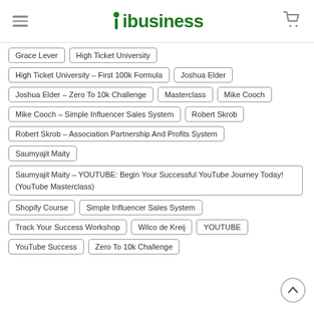ibusiness
Grace Lever
High Ticket University
High Ticket University – First 100k Formula
Joshua Elder
Joshua Elder – Zero To 10k Challenge
Masterclass
Mike Cooch
Mike Cooch – Simple Influencer Sales System
Robert Skrob
Robert Skrob – Association Partnership And Profits System
Saumyajit Maity
Saumyajit Maity – YOUTUBE: Begin Your Successful YouTube Journey Today! (YouTube Masterclass)
Shopify Course
Simple Influencer Sales System
Track Your Success Workshop
Wilco de Kreij
YOUTUBE
YouTube Success
Zero To 10k Challenge